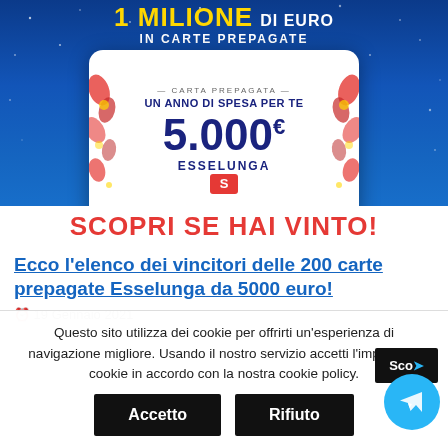[Figure (photo): Promotional banner for Esselunga supermarket contest showing a prepaid card worth 5,000 euros against a blue starry background, with text '1 MILIONE DI EURO IN CARTE PREPAGATE' and 'SCOPRI SE HAI VINTO!']
Ecco l'elenco dei vincitori delle 200 carte prepagate Esselunga da 5000 euro!
19 Gennaio 2021
Questo sito utilizza dei cookie per offrirti un'esperienza di navigazione migliore. Usando il nostro servizio accetti l'impiego di cookie in accordo con la nostra cookie policy.